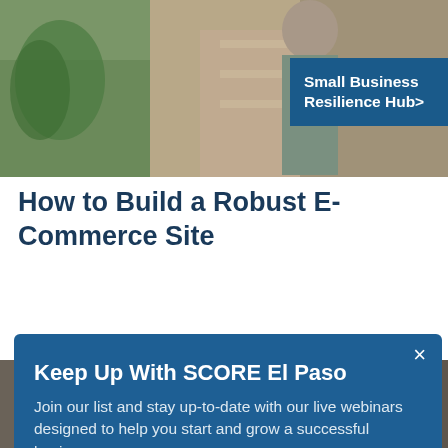[Figure (photo): Person standing in a retail/store environment with plants and shelving in background]
Small Business Resilience Hub>
How to Build a Robust E-Commerce Site
June 9, 2020  Whether you have an e-commerce site
[Figure (photo): Woman with blonde hair looking at a tablet device]
Keep Up With SCORE El Paso
Join our list and stay up-to-date with our live webinars designed to help you start and grow a successful business.
email address
SUBMIT